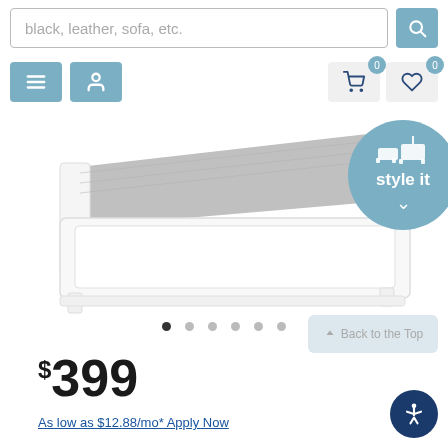[Figure (screenshot): E-commerce website screenshot showing a white bed frame product page with search bar, navigation icons, product photo, image carousel dots, price of $399, and financing link]
black, leather, sofa, etc.
$399
As low as $12.88/mo* Apply Now